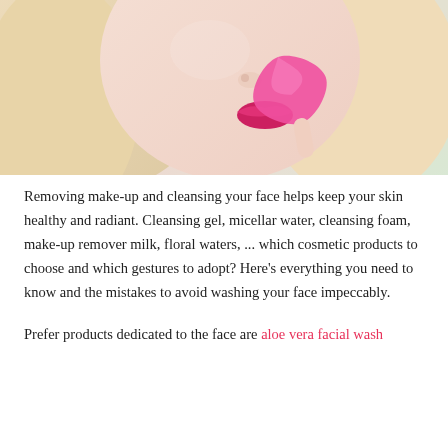[Figure (photo): Close-up photo of a blonde woman with pink lips holding a pink lip-shaped object near her mouth, soft pastel background]
Removing make-up and cleansing your face helps keep your skin healthy and radiant. Cleansing gel, micellar water, cleansing foam, make-up remover milk, floral waters, ... which cosmetic products to choose and which gestures to adopt? Here's everything you need to know and the mistakes to avoid washing your face impeccably.
Prefer products dedicated to the face are aloe vera facial wash